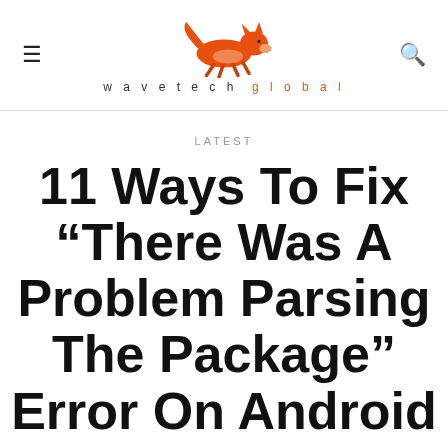wavetech global
LATEST
11 Ways To Fix “There Was A Problem Parsing The Package” Error On Android